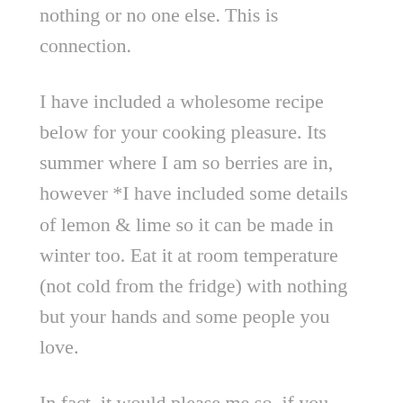nothing or no one else. This is connection.
I have included a wholesome recipe below for your cooking pleasure. Its summer where I am so berries are in, however *I have included some details of lemon & lime so it can be made in winter too. Eat it at room temperature (not cold from the fridge) with nothing but your hands and some people you love.
In fact, it would please me so, if you were to create somewhat of an affair of it all.. Bake anything you love, what ever that is, be it steak or mash (I know you all want some!) fruit dipped in